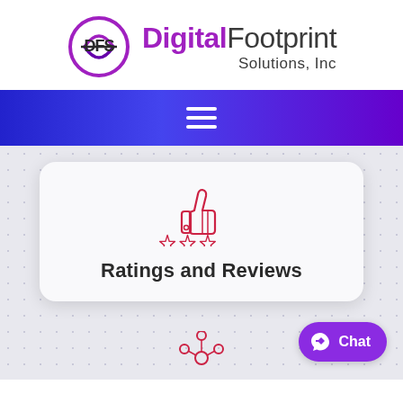[Figure (logo): Digital Footprint Solutions, Inc logo with circular DFS emblem in purple and dark colors, and company name in purple and dark grey text]
[Figure (screenshot): Navigation bar with gradient blue-purple background and hamburger menu icon in white]
[Figure (infographic): Card with thumbs up icon and three stars in red/pink outline style, with text Ratings and Reviews]
[Figure (screenshot): Purple Chat button with Messenger icon in bottom right corner]
[Figure (illustration): Partial red/pink outline icon at bottom of page showing a network/social connections diagram]